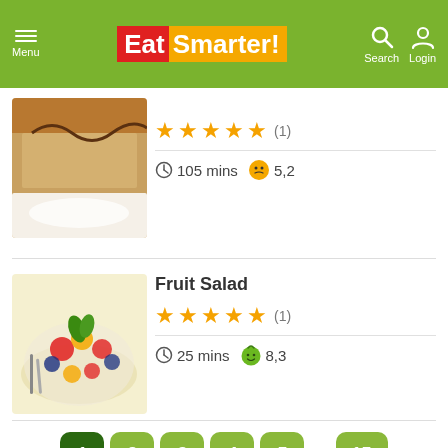EatSmarter! Menu | Search | Login
[Figure (photo): Partial view of a dessert with cream and chocolate, cut off at top]
★★★★★ (1)
105 mins  5,2
Fruit Salad
★★★★★ (1)
25 mins  8,3
[Figure (photo): Fruit salad in a glass bowl with strawberries, blueberries, orange slices, and mint leaves]
Pagination: 1 2 3 4 5 ... 15
Related cookbooks